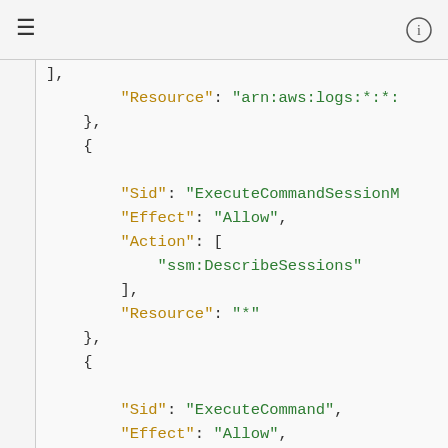≡  ℹ
],
    "Resource": "arn:aws:logs:*:*:
},
{
    "Sid": "ExecuteCommandSessionM
    "Effect": "Allow",
    "Action": [
        "ssm:DescribeSessions"
    ],
    "Resource": "*"
},
{
    "Sid": "ExecuteCommand",
    "Effect": "Allow",
    "Action": [
        "ssm:StartSession"
    ],